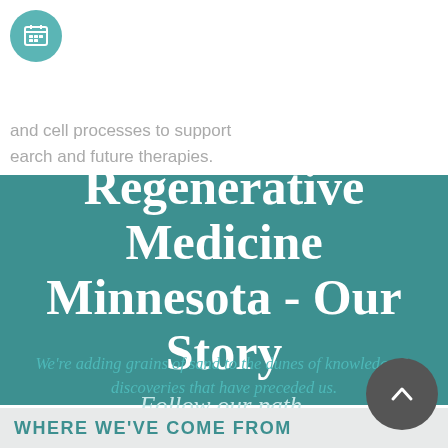[Figure (illustration): Teal circle icon with a calendar/grid symbol, partially visible at top-left]
and cell processes to support
earch and future therapies.
Regenerative Medicine Minnesota - Our Story
Follow our path.
We're adding grains of sand to the dunes of knowledge & discoveries that have preceded us.
WHERE WE'VE COME FROM